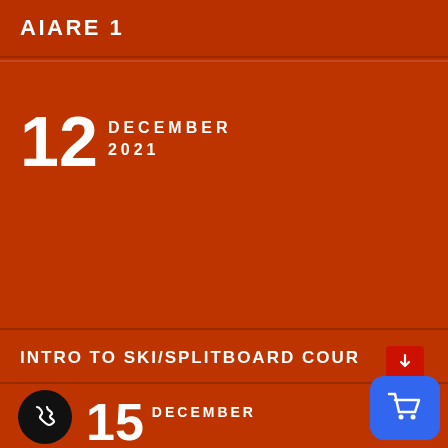AIARE 1
12 DECEMBER 2021
INTRO TO SKI/SPLITBOARD COURSE
15 DECEMBER